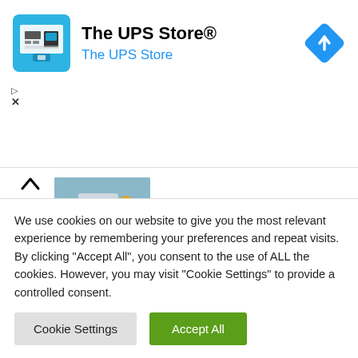[Figure (screenshot): UPS Store advertisement banner with logo icon, title 'The UPS Store®', subtitle 'The UPS Store', and navigation arrow icon]
How Does a Bitcoin ATM Paintings? A Fast Clarification
[Figure (screenshot): Finance article thumbnail showing network/infrastructure diagram with computers and buildings]
Finance
What Duties does Liquidity Aggregation Resolve?
We use cookies on our website to give you the most relevant experience by remembering your preferences and repeat visits. By clicking "Accept All", you consent to the use of ALL the cookies. However, you may visit "Cookie Settings" to provide a controlled consent.